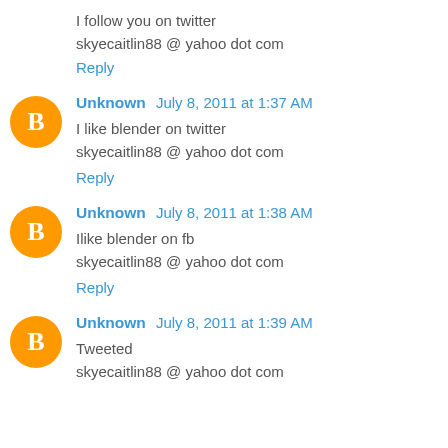I follow you on twitter
skyecaitlin88 @ yahoo dot com
Reply
Unknown  July 8, 2011 at 1:37 AM
I like blender on twitter
skyecaitlin88 @ yahoo dot com
Reply
Unknown  July 8, 2011 at 1:38 AM
Ilike blender on fb
skyecaitlin88 @ yahoo dot com
Reply
Unknown  July 8, 2011 at 1:39 AM
Tweeted
skyecaitlin88 @ yahoo dot com